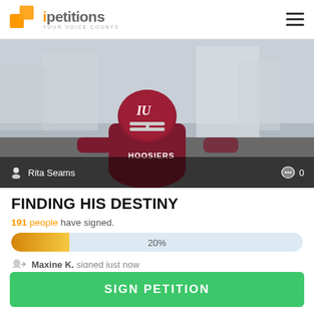[Figure (logo): iPetitions logo with orange cube icon and tagline YOUR VOICE COUNTS]
[Figure (photo): Football player in Indiana Hoosiers maroon uniform and helmet, standing in an outdoor setting]
FINDING HIS DESTINY
191 people have signed.
[Figure (infographic): Progress bar showing 20% completion, orange fill on left, light blue background]
Maxine K. signed just now
SIGN PETITION